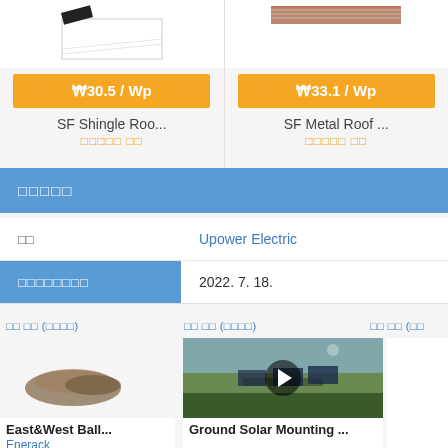[Figure (photo): Product card for SF Shingle Roo... showing panel image and price ₩30.5/Wp]
[Figure (photo): Product card for SF Metal Roof ... showing panel image and price ₩33.1/Wp]
판매자정보
| 제조사 | Upower Electric |
| 등록유효기간종료일 | 2022. 7. 18. |
관련 제품 (공급업체)
관련 제품 (공급업체)
관련 제품 (공
[Figure (photo): East&West Ball... product image]
East&West Ball...
Enerack
[Figure (photo): Ground Solar Mounting ... video thumbnail]
Ground Solar Mounting ...